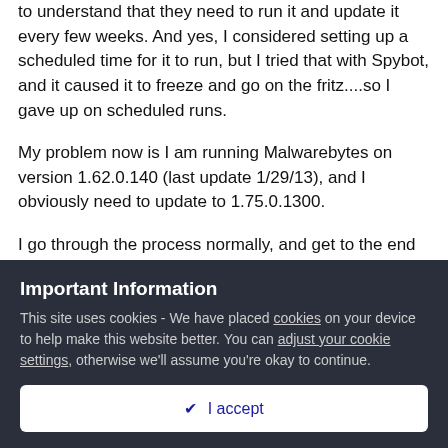to understand that they need to run it and update it every few weeks. And yes, I considered setting up a scheduled time for it to run, but I tried that with Spybot, and it caused it to freeze and go on the fritz....so I gave up on scheduled runs.
My problem now is I am running Malwarebytes on version 1.62.0.140 (last update 1/29/13), and I obviously need to update to 1.75.0.1300.
I go through the process normally, and get to the end where it says, "Click 'Finish' to exit setup." Once, I do that, I get a small screen that says 'connecting to server' and then it begins downloading v1.75.0.1300. All of that seems normal.
Important Information
This site uses cookies - We have placed cookies on your device to help make this website better. You can adjust your cookie settings, otherwise we'll assume you're okay to continue.
I accept